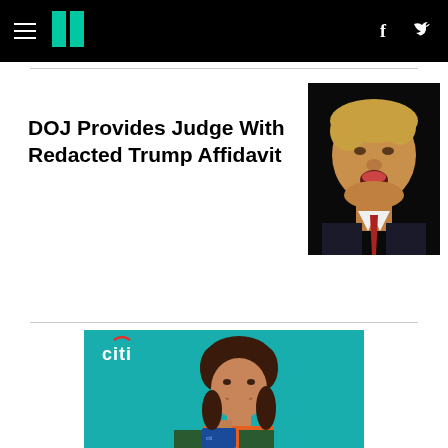HuffPost navigation header with hamburger menu, logo, Facebook and Twitter icons
DOJ Provides Judge With Redacted Trump Affidavit
[Figure (photo): Photo of Donald Trump with mouth open, wearing a suit and red tie, dark background]
[Figure (photo): Citi credit card advertisement featuring a woman with brown hair smiling and holding a Citi credit card, teal background, Citi logo in upper left]